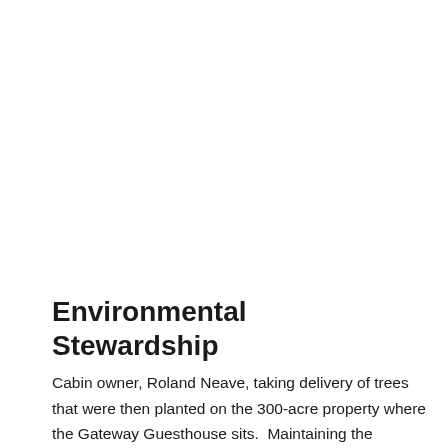Environmental Stewardship
Cabin owner, Roland Neave, taking delivery of trees that were then planted on the 300-acre property where the Gateway Guesthouse sits.  Maintaining the environment